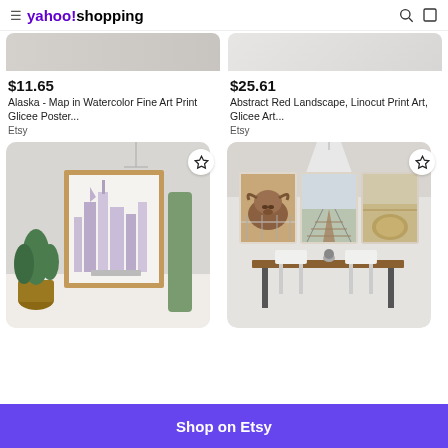yahoo! shopping
[Figure (photo): Partial product image - top portion of Alaska Map watercolor print]
[Figure (photo): Partial product image - top portion of Abstract Red Landscape print]
$11.65
Alaska - Map in Watercolor Fine Art Print Glicee Poster...
Etsy
$25.61
Abstract Red Landscape, Linocut Print Art, Glicee Art...
Etsy
[Figure (photo): City skyline art print in wooden frame displayed in a room with a plant and green fabric]
[Figure (photo): Three farm-themed wall art panels showing highland cow, boardwalk, and hay bale, displayed above a dining table]
Shop on Etsy